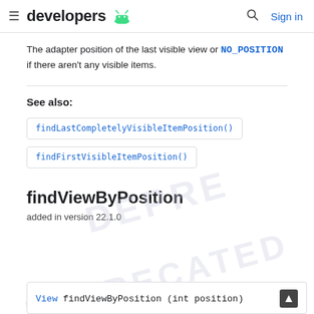≡ developers [android] Q Sign in
The adapter position of the last visible view or NO_POSITION if there aren't any visible items.
See also:
findLastCompletelyVisibleItemPosition()
findFirstVisibleItemPosition()
findViewByPosition
added in version 22.1.0
View findViewByPosition (int position)